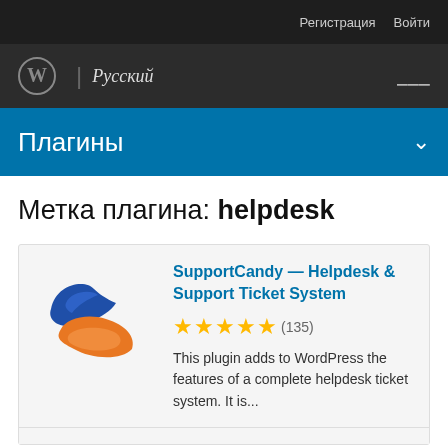Регистрация  Войти
WordPress | Русский
Плагины
Метка плагина: helpdesk
[Figure (logo): SupportCandy plugin logo — two stylized hands (blue and orange) forming a handshake or support gesture]
SupportCandy — Helpdesk & Support Ticket System
★★★★★ (135)
This plugin adds to WordPress the features of a complete helpdesk ticket system. It is...